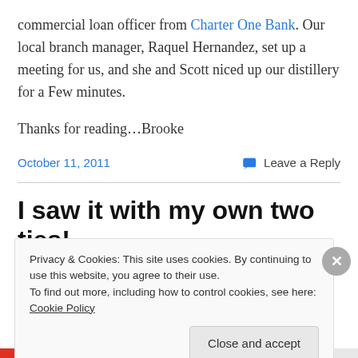commercial loan officer from Charter One Bank. Our local branch manager, Raquel Hernandez, set up a meeting for us, and she and Scott niced up our distillery for a Few minutes.
Thanks for reading…Brooke
October 11, 2011    Leave a Reply
I saw it with my own two ties!
Privacy & Cookies: This site uses cookies. By continuing to use this website, you agree to their use.
To find out more, including how to control cookies, see here: Cookie Policy
Close and accept